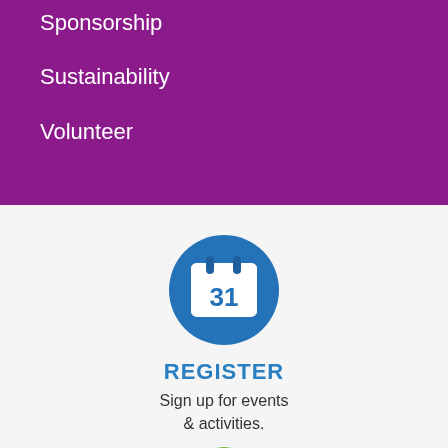Sponsorship
Sustainability
Volunteer
[Figure (illustration): Blue circle icon with a calendar showing the number 31 in white]
REGISTER
Sign up for events & activities.
[Figure (illustration): Partial green circle icon visible at bottom of page]